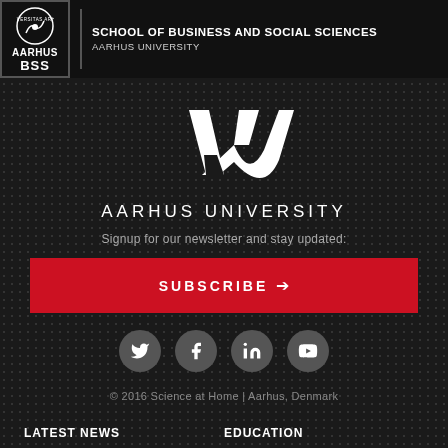[Figure (logo): Aarhus BSS School of Business and Social Sciences logo with circular university emblem, 'AARHUS BSS' text, and 'SCHOOL OF BUSINESS AND SOCIAL SCIENCES / AARHUS UNIVERSITY' beside it]
[Figure (logo): Aarhus University AU stylized logo mark (abstract A-shape in white) with 'AARHUS UNIVERSITY' text below]
Signup for our newsletter and stay updated:
SUBSCRIBE →
[Figure (other): Row of four social media icons: Twitter, Facebook, LinkedIn, YouTube — white icons on gray circular backgrounds]
© 2016 Science at Home | Aarhus, Denmark
LATEST NEWS
EDUCATION